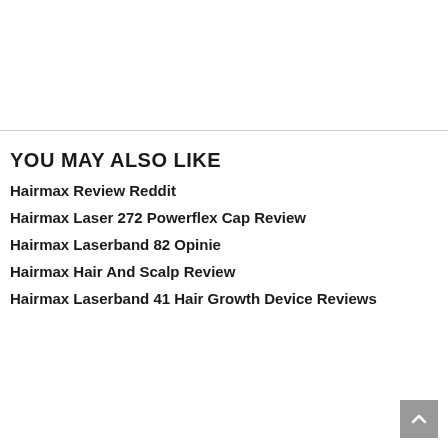YOU MAY ALSO LIKE
Hairmax Review Reddit
Hairmax Laser 272 Powerflex Cap Review
Hairmax Laserband 82 Opinie
Hairmax Hair And Scalp Review
Hairmax Laserband 41 Hair Growth Device Reviews